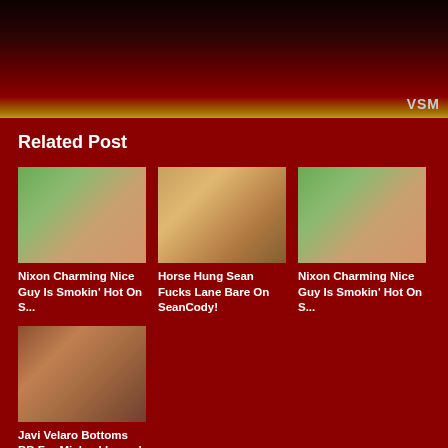[Figure (photo): Dark banner image at top with VSM watermark label in lower right]
Related Post
[Figure (photo): Thumbnail image 1: Nixon Charming Nice Guy]
Nixon Charming Nice Guy Is Smokin’ Hot On S...
[Figure (photo): Thumbnail image 2: Horse Hung Sean Fucks Lane Bare On SeanCody]
Horse Hung Sean Fucks Lane Bare On SeanCody!
[Figure (photo): Thumbnail image 3: Nixon Charming Nice Guy]
Nixon Charming Nice Guy Is Smokin’ Hot On S...
[Figure (photo): Thumbnail image 4: Javi Velaro Bottoms BB For Michael Lucas]
Javi Velaro Bottoms BB For Michael Lucas!